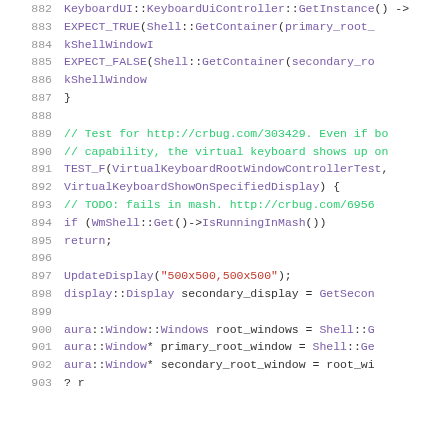[Figure (screenshot): Source code screenshot showing C++ code lines 882-903, featuring test functions for virtual keyboard root window controller with syntax highlighting in monospace font on white background.]